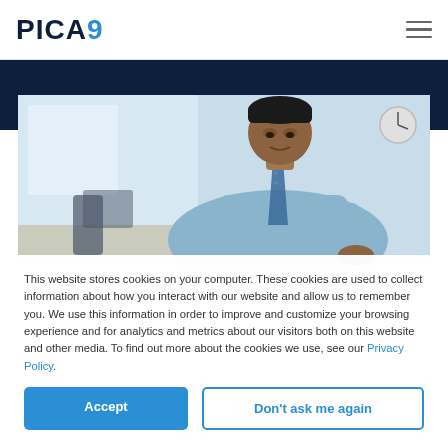PICA9
[Figure (photo): A man in a light blue button-up shirt and tie, leaning over a desk, photographed from above in a bright office environment.]
This website stores cookies on your computer. These cookies are used to collect information about how you interact with our website and allow us to remember you. We use this information in order to improve and customize your browsing experience and for analytics and metrics about our visitors both on this website and other media. To find out more about the cookies we use, see our Privacy Policy.
Accept
Don't ask me again